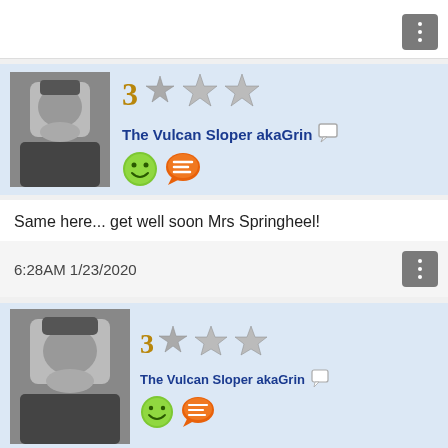[Figure (screenshot): Partial top of a forum post with a three-dot menu button visible]
[Figure (screenshot): Forum post header with avatar of Spock-like character, rank number 3, star rating icons, username 'The Vulcan Sloper akaGrin', speech bubble icon, smiley face and chat bubble emoji icons]
Same here... get well soon Mrs Springheel!
6:28AM 1/23/2020
[Figure (screenshot): Second forum post header with same avatar, rank number 3, star rating icons, username 'The Vulcan Sloper akaGrin', speech bubble icon, smiley face and chat bubble emoji icons]
CORONA CRASH taking hold.

Just remember you heard it here first baby!
6:37AM 1/23/2020